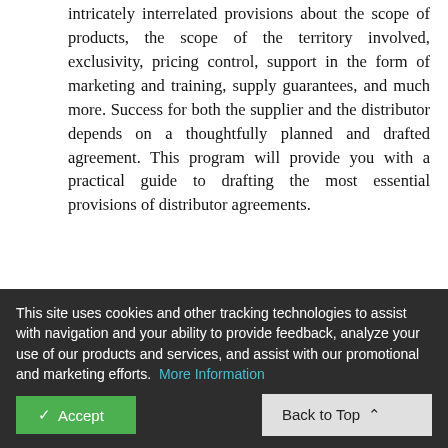intricately interrelated provisions about the scope of products, the scope of the territory involved, exclusivity, pricing control, support in the form of marketing and training, supply guarantees, and much more. Success for both the supplier and the distributor depends on a thoughtfully planned and drafted agreement. This program will provide you with a practical guide to drafting the most essential provisions of distributor agreements.
Understanding distributor and supplier objectives – and how they can be harmonized
Legal framework of distributor agreements
Products covered and how they are defined and altered over time
Supply guarantees, timeliness of performance
Pricing – who controls and antitrust considerations
This site uses cookies and other tracking technologies to assist with navigation and your ability to provide feedback, analyze your use of our products and services, and assist with our promotional and marketing efforts. More Information